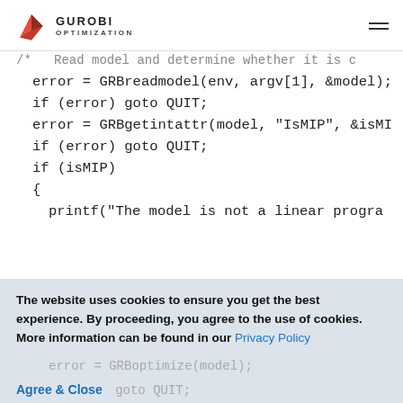GUROBI OPTIMIZATION
/* Read model and determine whether it is ...
error = GRBreadmodel(env, argv[1], &model);
if (error) goto QUIT;
error = GRBgetintattr(model, "IsMIP", &isMI...
if (error) goto QUIT;
if (isMIP)
{
printf("The model is not a linear program...
goto QUIT;
The website uses cookies to ensure you get the best experience. By proceeding, you agree to the use of cookies. More information can be found in our Privacy Policy
Agree & Close
error = GRBoptimize(model);
if (error) goto QUIT;
error = GRBgetintattr(model, "Status", ...